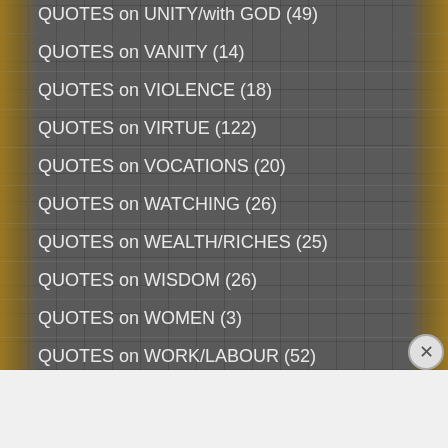QUOTES on UNITY/with GOD (49)
QUOTES on VANITY (14)
QUOTES on VIOLENCE (18)
QUOTES on VIRTUE (122)
QUOTES on VOCATIONS (20)
QUOTES on WATCHING (26)
QUOTES on WEALTH/RICHES (25)
QUOTES on WISDOM (26)
QUOTES on WOMEN (3)
QUOTES on WORK/LABOUR (52)
Advertisements
[Figure (screenshot): Seamless food delivery advertisement banner with pizza image, Seamless logo, and ORDER NOW button]